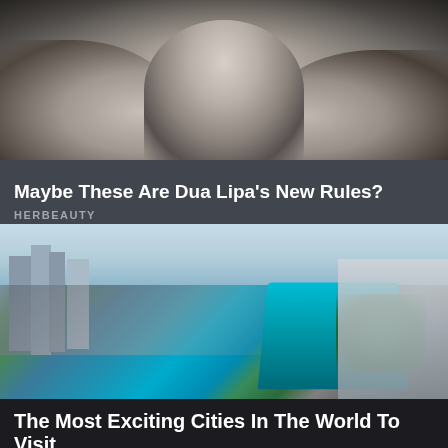[Figure (photo): Black and white photo of a person (likely Dua Lipa) in a white tank top with arms outstretched]
Maybe These Are Dua Lipa's New Rules?
HERBEAUTY
[Figure (photo): Aerial color photo of a city (Singapore) showing Marina Bay Sands infinity pool, roads, bridges, and skyline]
The Most Exciting Cities In The World To Visit